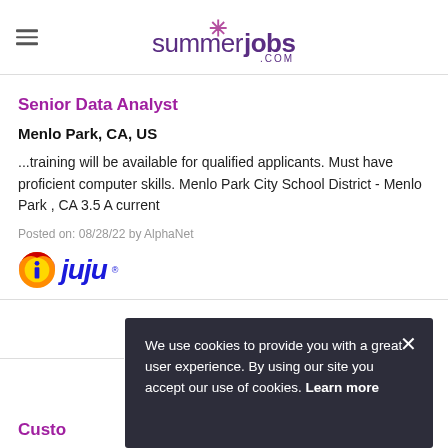summerjobs.com
Senior Data Analyst
Menlo Park, CA, US
...training will be available for qualified applicants. Must have proficient computer skills. Menlo Park City School District - Menlo Park , CA 3.5 A current
Posted on: 08/28/22 by AlphaNet
[Figure (logo): Juju job search logo with orange and red circular icon and blue italic text 'juju']
We use cookies to provide you with a great user experience. By using our site you accept our use of cookies. Learn more
Custo